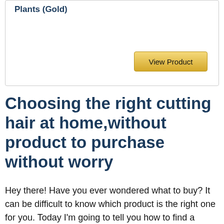Plants (Gold)
Choosing the right cutting hair at home,without product to purchase without worry
Hey there! Have you ever wondered what to buy? It can be difficult to know which product is the right one for you. Today I'm going to tell you how to find a